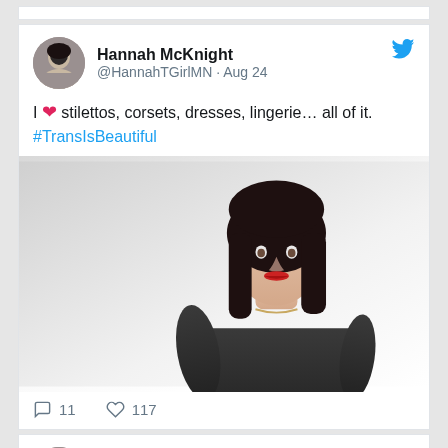[Figure (screenshot): Partial top of a previous tweet card, cropped at the top of the page]
Hannah McKnight @HannahTGirlMN · Aug 24
I ❤ stilettos, corsets, dresses, lingerie… all of it. #TransIsBeautiful
[Figure (photo): Photo of Hannah McKnight, a woman with dark shoulder-length hair wearing a dark short-sleeved top, posed against a white background]
11 comments, 117 likes
Hannah McKnight @HannahTGirlMN · Aug 21